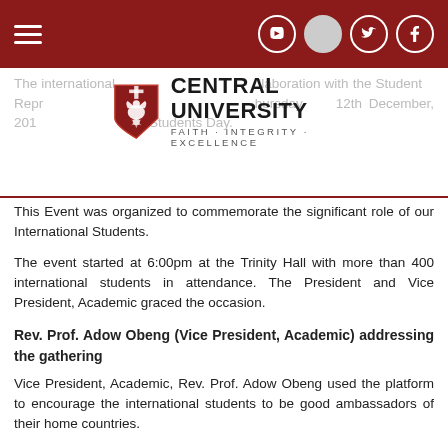Central University — navigation header with hamburger menu and social icons (YouTube, circle, Twitter, Facebook)
[Figure (logo): Central University shield logo with eagle, red and white coloring, with text CENTRAL UNIVERSITY and tagline FAITH · INTEGRITY · EXCELLENCE]
The international ... in collaboration with the Student Representatives ... Thursday 12th December, 2013 ... organized ... International Students Day.
This Event was organized to commemorate the significant role of our International Students.
The event started at 6:00pm at the Trinity Hall with more than 400 international students in attendance. The President and Vice President, Academic graced the occasion.
Rev. Prof. Adow Obeng (Vice President, Academic) addressing the gathering
Vice President, Academic, Rev. Prof. Adow Obeng used the platform to encourage the international students to be good ambassadors of their home countries.